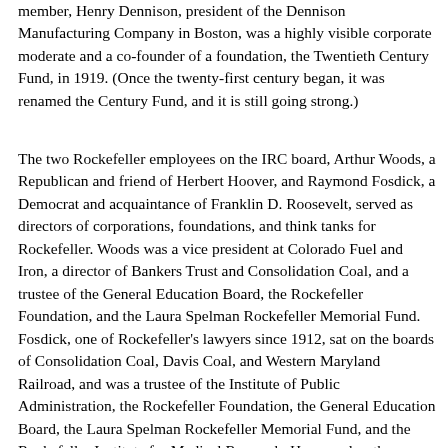member, Henry Dennison, president of the Dennison Manufacturing Company in Boston, was a highly visible corporate moderate and a co-founder of a foundation, the Twentieth Century Fund, in 1919. (Once the twenty-first century began, it was renamed the Century Fund, and it is still going strong.)
The two Rockefeller employees on the IRC board, Arthur Woods, a Republican and friend of Herbert Hoover, and Raymond Fosdick, a Democrat and acquaintance of Franklin D. Roosevelt, served as directors of corporations, foundations, and think tanks for Rockefeller. Woods was a vice president at Colorado Fuel and Iron, a director of Bankers Trust and Consolidation Coal, and a trustee of the General Education Board, the Rockefeller Foundation, and the Laura Spelman Rockefeller Memorial Fund. Fosdick, one of Rockefeller's lawyers since 1912, sat on the boards of Consolidation Coal, Davis Coal, and Western Maryland Railroad, and was a trustee of the Institute of Public Administration, the Rockefeller Foundation, the General Education Board, the Laura Spelman Rockefeller Memorial Fund, and the Rockefeller Institute for Medical Research. He served as the president of the Rockefeller Foundation from 1936 to 1948 (Fosdick 1952).) As one of Rockefeller's two or three closest advisors on labor relations, along with Teagle and Hicks, Fosdick is part of the Rockefeller involvement in labor relations during the New Deal. As for the ninth and first IRC trustee, Frances Hocking...